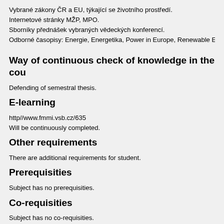Vybrané zákony ČR a EU, týkající se životního prostředí.
Internetové stránky MŽP, MPO.
Sborníky přednášek vybraných vědeckých konferencí.
Odborné časopisy: Energie, Energetika, Power in Europe, Renewable Energy F
Way of continuous check of knowledge in the cou
Defending of semestral thesis.
E-learning
http//www.fmmi.vsb.cz/635
Will be continuously completed.
Other requirements
There are additional requirements for student.
Prerequisities
Subject has no prerequisities.
Co-requisities
Subject has no co-requisities.
Subject syllabus: